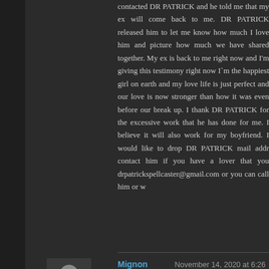contacted DR PATRICK and he told me that my ex will come back to me. DR PATRICK released him to let me know how much I love him and picture how much we have shared together. My ex is back to me right now and I'm giving this testimony right now I'm the happiest girl on earth and my love life is just perfect and our love is now stronger than how it was even before our break up. I thank DR PATRICK for the excessive work that he has done for me. I believe it will also work for my boyfriend. I would like to drop DR PATRICK mail address to the effect of those contact him if you have a lover that you really want back. His email: drpatrickspellcaster@gmail.com or you can call him or whatsapp
Reply
Mignon Wright   November 14, 2020 at 6:26 AM
DR OYAGU herbal medicine is a good remedy for herpes simplex virus 1&2. I , am from USA,I am here to give my testimony about DR OYAGU who helped me. I saw the public how i was cured from (HERPES SIMPLEX VIRUS) by DR OYAGU. they gave me list of drugs like Familiar, Zovirax, and Valtrex which is very expensive and never cured me. I was browsing through the Internet seeing if I could get some comment of people talking about how DR OYAGU cured them, and he also gave me medicine to send a Herbal medicine to me that i took and it seriously worked for me, am a free person now without problem, my HERPES result came out negative, I pray to God to never let me and my family forget you in our life, am now cured permanently, you can also get your self cured my friend if you need his help, you can reach him on his website :https://oyaguspellcaster